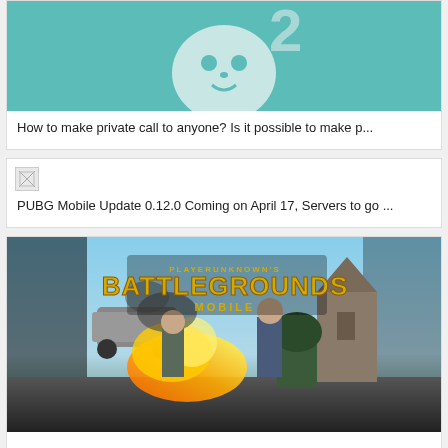[Figure (screenshot): Teal/mint colored image with a cartoon ghost or smiley face character, partially cropped at top]
How to make private call to anyone? Is it possible to make p...
[Figure (photo): Small broken/loading image icon]
PUBG Mobile Update 0.12.0 Coming on April 17, Servers to go ...
[Figure (photo): PUBG Mobile Battlegrounds promotional image showing two armed soldiers running from an explosion, with a vehicle and church building in the background]
PUBG Lite Download: India Release Date, Asian Server